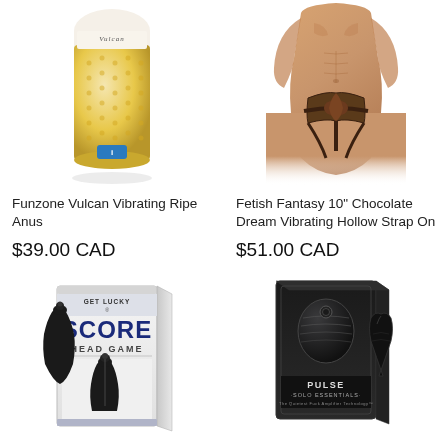[Figure (photo): Funzone Vulcan Vibrating Ripe Anus product — gold/cream colored cylindrical sex toy in packaging]
[Figure (photo): Fetish Fantasy 10 inch Chocolate Dream Vibrating Hollow Strap On — male model wearing strap-on harness]
Funzone Vulcan Vibrating Ripe Anus
$39.00 CAD
Fetish Fantasy 10" Chocolate Dream Vibrating Hollow Strap On
$51.00 CAD
[Figure (photo): Get Lucky Score Head Game product in white and silver box with black toy visible]
[Figure (photo): Pulse Solo Essentials product in dark box with two black egg-shaped devices shown]